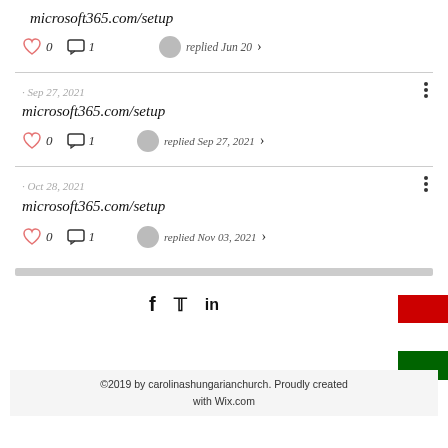microsoft365.com/setup
0  1  replied Jun 20
· Sep 27, 2021
microsoft365.com/setup
0  1  replied Sep 27, 2021
· Oct 28, 2021
microsoft365.com/setup
0  1  replied Nov 03, 2021
©2019 by carolinashungarianchurch. Proudly created with Wix.com